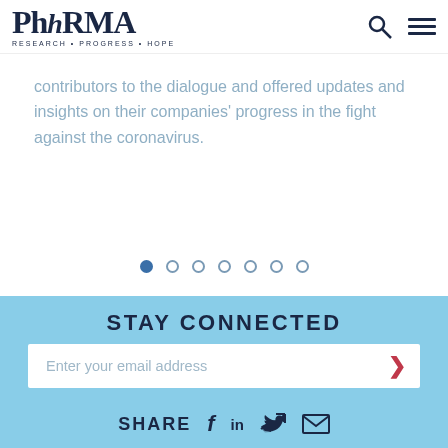PhRMA RESEARCH • PROGRESS • HOPE
contributors to the dialogue and offered updates and insights on their companies' progress in the fight against the coronavirus.
[Figure (other): Pagination dots: 7 dots, first one filled/active, remaining 6 are empty circles]
STAY CONNECTED
Enter your email address
SHARE  f  in  (twitter bird)  (email icon)